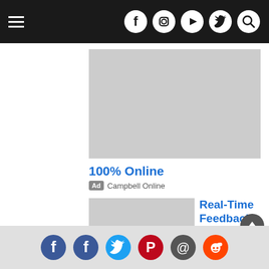Navigation bar with menu and social icons (Facebook, Instagram, YouTube, Twitter, Search)
[Figure (other): Large gray advertisement placeholder image]
100% Online
Ad  Campbell Online
[Figure (other): Gray advertisement thumbnail image]
Real-Time Feedback
Ad  APA Style
[Figure (other): Gray advertisement thumbnail image]
Financial Aid Available
Social share bar: Facebook, Facebook, Twitter, Pinterest, Email, Reddit